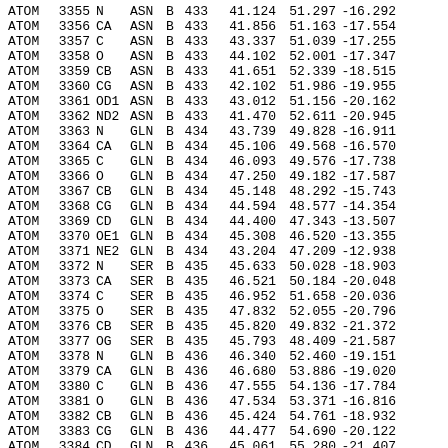| Type | Num | Atom | Res | Chain | SeqNum | X | Y | Z |
| --- | --- | --- | --- | --- | --- | --- | --- | --- |
| ATOM | 3355 | N | ASN | B | 433 | 41.124 | 51.297 | -16.292 |
| ATOM | 3356 | CA | ASN | B | 433 | 41.856 | 51.163 | -17.554 |
| ATOM | 3357 | C | ASN | B | 433 | 43.337 | 51.039 | -17.255 |
| ATOM | 3358 | O | ASN | B | 433 | 44.102 | 52.001 | -17.347 |
| ATOM | 3359 | CB | ASN | B | 433 | 41.651 | 52.339 | -18.515 |
| ATOM | 3360 | CG | ASN | B | 433 | 42.102 | 51.986 | -19.955 |
| ATOM | 3361 | OD1 | ASN | B | 433 | 43.012 | 51.156 | -20.162 |
| ATOM | 3362 | ND2 | ASN | B | 433 | 41.470 | 52.611 | -20.945 |
| ATOM | 3363 | N | GLN | B | 434 | 43.739 | 49.828 | -16.911 |
| ATOM | 3364 | CA | GLN | B | 434 | 45.106 | 49.568 | -16.570 |
| ATOM | 3365 | C | GLN | B | 434 | 46.093 | 49.576 | -17.738 |
| ATOM | 3366 | O | GLN | B | 434 | 47.250 | 49.182 | -17.587 |
| ATOM | 3367 | CB | GLN | B | 434 | 45.148 | 48.292 | -15.743 |
| ATOM | 3368 | CG | GLN | B | 434 | 44.594 | 48.577 | -14.354 |
| ATOM | 3369 | CD | GLN | B | 434 | 44.400 | 47.343 | -13.507 |
| ATOM | 3370 | OE1 | GLN | B | 434 | 45.308 | 46.520 | -13.355 |
| ATOM | 3371 | NE2 | GLN | B | 434 | 43.204 | 47.209 | -12.938 |
| ATOM | 3372 | N | SER | B | 435 | 45.633 | 50.028 | -18.903 |
| ATOM | 3373 | CA | SER | B | 435 | 46.521 | 50.184 | -20.048 |
| ATOM | 3374 | C | SER | B | 435 | 46.952 | 51.658 | -20.036 |
| ATOM | 3375 | O | SER | B | 435 | 47.832 | 52.055 | -20.796 |
| ATOM | 3376 | CB | SER | B | 435 | 45.820 | 49.832 | -21.372 |
| ATOM | 3377 | OG | SER | B | 435 | 45.793 | 48.409 | -21.587 |
| ATOM | 3378 | N | GLN | B | 436 | 46.340 | 52.460 | -19.151 |
| ATOM | 3379 | CA | GLN | B | 436 | 46.680 | 53.886 | -19.020 |
| ATOM | 3380 | C | GLN | B | 436 | 47.555 | 54.136 | -17.784 |
| ATOM | 3381 | O | GLN | B | 436 | 47.534 | 53.371 | -16.816 |
| ATOM | 3382 | CB | GLN | B | 436 | 45.424 | 54.761 | -18.932 |
| ATOM | 3383 | CG | GLN | B | 436 | 44.477 | 54.690 | -20.122 |
| ATOM | 3384 | CD | GLN | B | 436 | 45.061 | 55.280 | -21.407 |